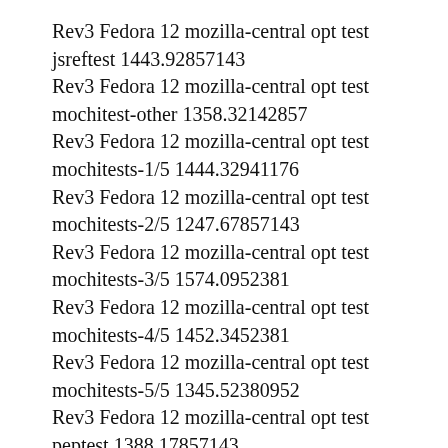Rev3 Fedora 12 mozilla-central opt test jsreftest 1443.92857143
Rev3 Fedora 12 mozilla-central opt test mochitest-other 1358.32142857
Rev3 Fedora 12 mozilla-central opt test mochitests-1/5 1444.32941176
Rev3 Fedora 12 mozilla-central opt test mochitests-2/5 1247.67857143
Rev3 Fedora 12 mozilla-central opt test mochitests-3/5 1574.0952381
Rev3 Fedora 12 mozilla-central opt test mochitests-4/5 1452.3452381
Rev3 Fedora 12 mozilla-central opt test mochitests-5/5 1345.52380952
Rev3 Fedora 12 mozilla-central opt test peptest 1388.17857143